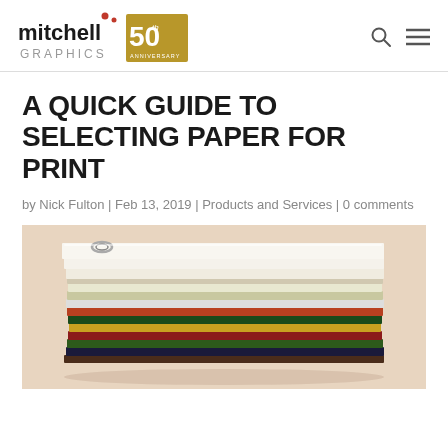Mitchell Graphics 50th Anniversary
A QUICK GUIDE TO SELECTING PAPER FOR PRINT
by Nick Fulton | Feb 13, 2019 | Products and Services | 0 comments
[Figure (photo): Stack of colorful paper sheets in various colors including white, cream, green, red, and other colors, held together with a binder ring, on a light background]